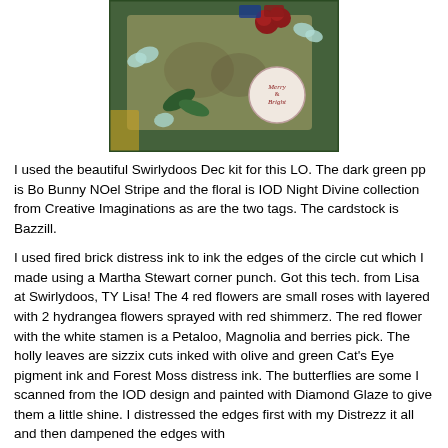[Figure (photo): A decorative holiday/Christmas scrapbook layout featuring green foliage, red roses, butterflies, and a 'Merry & Bright' circular tag on a vintage floral patterned background.]
I used the beautiful Swirlydoos Dec kit for this LO.  The dark green pp is Bo Bunny NOel Stripe and the floral is IOD Night Divine collection from Creative Imaginations as are the two tags.  The cardstock is Bazzill.
I used fired brick distress ink to ink the edges of the circle cut which I made using a Martha Stewart corner punch.  Got this tech. from Lisa at Swirlydoos, TY Lisa!  The 4 red flowers are small roses with layered with 2 hydrangea flowers sprayed with red shimmerz. The red flower with the white stamen is a Petaloo, Magnolia and berries pick.  The holly leaves are sizzix cuts inked with olive and green Cat's Eye pigment ink and Forest Moss distress ink.  The butterflies are some I scanned from the IOD design and painted with Diamond Glaze to give them a little shine.  I distressed the edges first with my Distrezz it all and then dampened the edges with